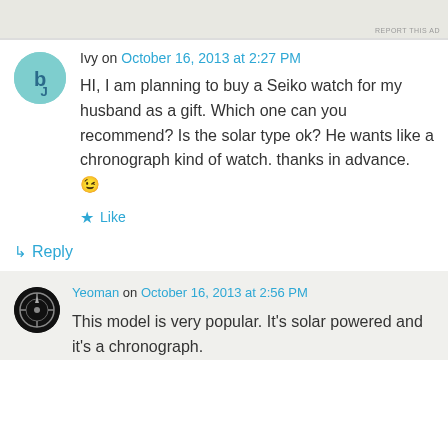[Figure (other): Ad banner placeholder at top of page with 'REPORT THIS AD' text]
Ivy on October 16, 2013 at 2:27 PM
HI, I am planning to buy a Seiko watch for my husband as a gift. Which one can you recommend? Is the solar type ok? He wants like a chronograph kind of watch. thanks in advance. 😉
★ Like
↳ Reply
Yeoman on October 16, 2013 at 2:56 PM
This model is very popular. It's solar powered and it's a chronograph.